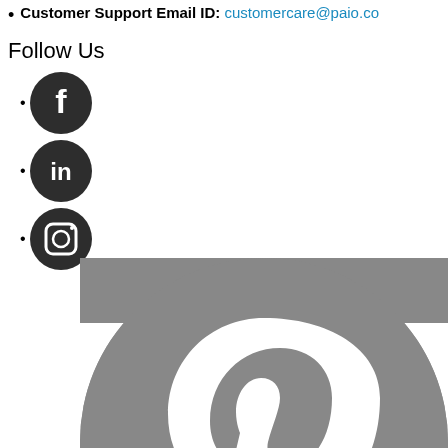Customer Support Email ID: customercare@paio.co
Follow Us
Facebook icon
LinkedIn icon
Instagram icon
[Figure (logo): Pinterest logo large gray circle with white P symbol, partially cropped at bottom]